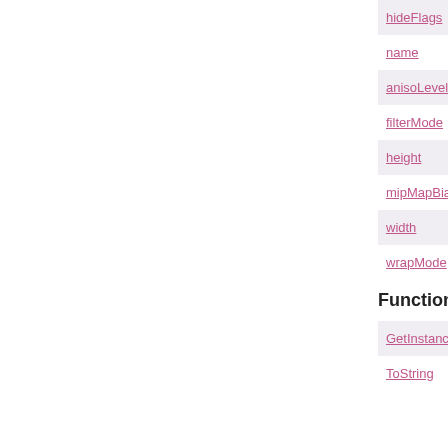hideFlags
name
anisoLevel
filterMode
height
mipMapBias
width
wrapMode
Functions
GetInstance
ToString